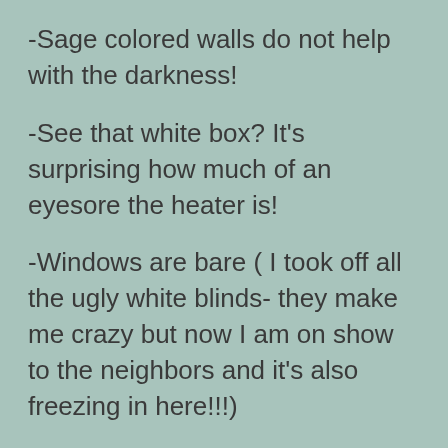-Sage colored walls do not help with the darkness!
-See that white box? It's surprising how much of an eyesore the heater is!
-Windows are bare ( I took off all the ugly white blinds- they make me crazy but now I am on show to the neighbors and it's also freezing in here!!!)
-The place looks like I just moved in and does not feel cozy. ( I need to warm it up!)
-This room needs to function as an